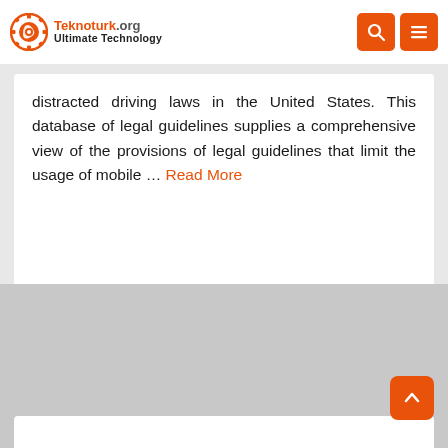Teknoturk.org Ultimate Technology
distracted driving laws in the United States. This database of legal guidelines supplies a comprehensive view of the provisions of legal guidelines that limit the usage of mobile … Read More